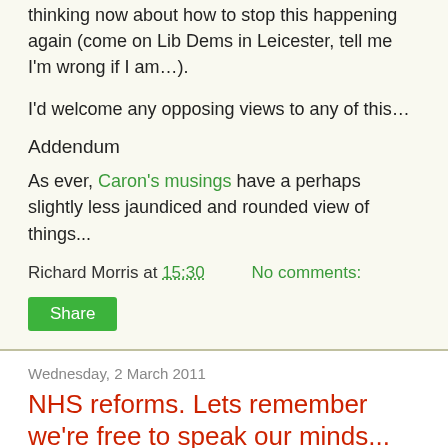thinking now about how to stop this happening again (come on Lib Dems in Leicester, tell me I'm wrong if I am…).
I'd welcome any opposing views to any of this…
Addendum
As ever, Caron's musings have a perhaps slightly less jaundiced and rounded view of things...
Richard Morris at 15:30    No comments:
Share
Wednesday, 2 March 2011
NHS reforms. Lets remember we're free to speak our minds...
When Olly Grender blogged the other day about what does having a mandate to do something in government actually mean, it got me thinking. After all neither ourselves or the